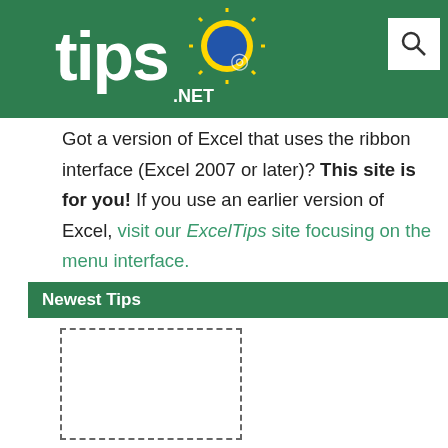tips.NET
Got a version of Excel that uses the ribbon interface (Excel 2007 or later)? This site is for you! If you use an earlier version of Excel, visit our ExcelTips site focusing on the menu interface.
Newest Tips
[Figure (other): Dashed rectangle placeholder box for a tip image or content]